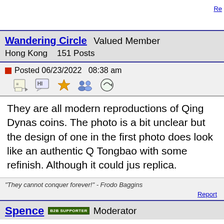Re[ply]
Wandering Circle  Valued Member
Hong Kong   151 Posts
Posted 06/23/2022  08:38 am
They are all modern reproductions of Qing Dynasty coins. The photo is a bit unclear but the design of one in the first photo does look like an authentic Qing Tongbao with some refinish. Although it could just be a replica.
"They cannot conquer forever!" - Frodo Baggins
Report
Spence  [B2B SUPPORTER]  Moderator